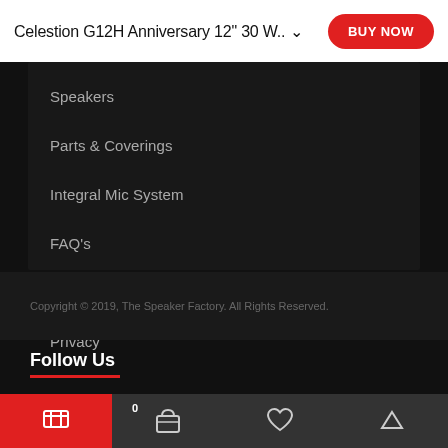Celestion G12H Anniversary 12" 30 W..
Speakers
Parts & Coverings
Integral Mic System
FAQ's
Returns Policy
Privacy
Copyright © 2019, The Speaker Factory. All Rights Reserved.
Follow Us
[Figure (other): Social media icons: Twitter, Facebook, YouTube, Behance, GitHub]
Bottom navigation bar with cart, basket (0), wishlist, and scroll-up icons